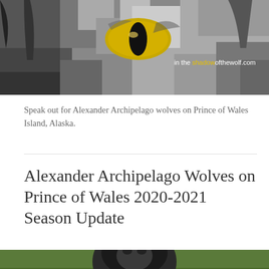[Figure (photo): Close-up black and white photo of a wolf's eye with fur, with the website watermark 'intheshadowofthewolf.com' overlaid in white and yellow text]
Speak out for Alexander Archipelago wolves on Prince of Wales Island, Alaska.
Alexander Archipelago Wolves on Prince of Wales 2020-2021 Season Update
[Figure (photo): Partial photo of a dark wolf looking upward, surrounded by green moss and forest foliage]